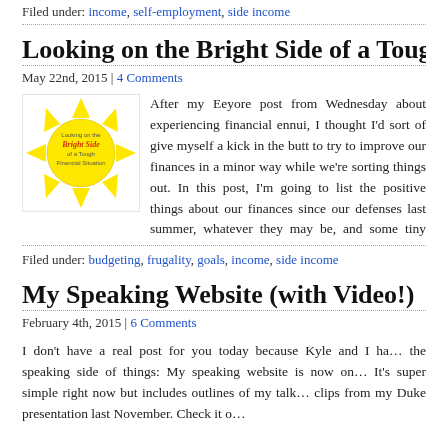Filed under: income, self-employment, side income
Looking on the Bright Side of a Tough Financ…
May 22nd, 2015 | 4 Comments
[Figure (illustration): Book cover image: yellow sun with triangular rays on white background, text reading 'Looking on the Bright Side of a Tough Financial Situation']
After my Eeyore post from Wednes… experiencing financial ennui, I though… of give myself a kick in the butt to try… finances in a minor way while we're s… post, I'm going to list the positive thi… finances since our defenses last sun… may be, and some tiny goals.    Good…
Filed under: budgeting, frugality, goals, income, side income
My Speaking Website (with Video!)
February 4th, 2015 | 6 Comments
I don't have a real post for you today because Kyle and I ha… the speaking side of things: My speaking website is now on… It's super simple right now but includes outlines of my talk… clips from my Duke presentation last November. Check it o…